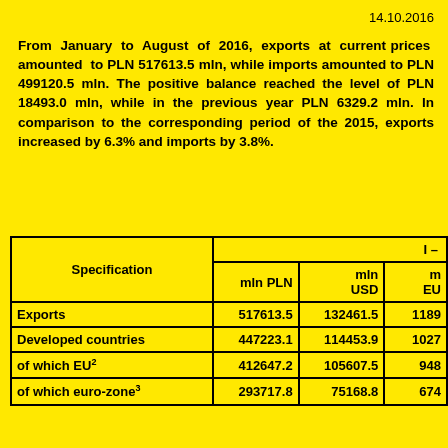14.10.2016
From January to August of 2016, exports at current prices amounted to PLN 517613.5 mln, while imports amounted to PLN 499120.5 mln. The positive balance reached the level of PLN 18493.0 mln, while in the previous year PLN 6329.2 mln. In comparison to the corresponding period of the 2015, exports increased by 6.3% and imports by 3.8%.
| Specification | I - mln PLN | I - mln USD | I - m EU |
| --- | --- | --- | --- |
| Exports | 517613.5 | 132461.5 | 1189 |
| Developed countries | 447223.1 | 114453.9 | 1027 |
| of which EU² | 412647.2 | 105607.5 | 948 |
| of which euro-zone³ | 293717.8 | 75168.8 | 674 |